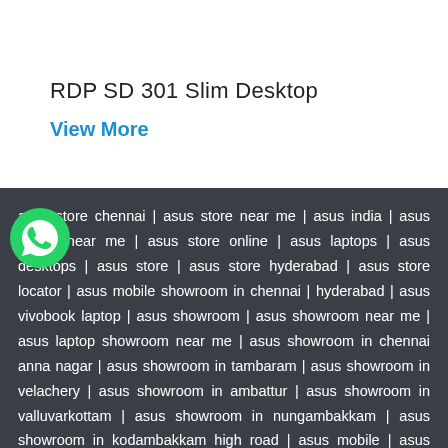RDP SD 301 Slim Desktop
View More
[Figure (logo): WhatsApp green chat bubble icon]
asus store chennai | asus store near me | asus india | asus laptop near me | asus store online | asus laptops | asus desktops | asus store | asus store hyderabad | asus store locator | asus mobile showroom in chennai | hyderabad | asus vivobook laptop | asus showroom | asus showroom near me | asus laptop showroom near me | asus showroom in chennai anna nagar | asus showroom in tambaram | asus showroom in velachery | asus showroom in ambattur | asus showroom in valluvarkottam | asus showroom in nungambakkam | asus showroom in kodambakkam high road | asus mobile | asus tablet | asus rog laptop | asus rog mobile | asus laptop showroom in chennai | asus laptop showroom | asus desktop computer | asus dealers | asus supplier | asus distributor |